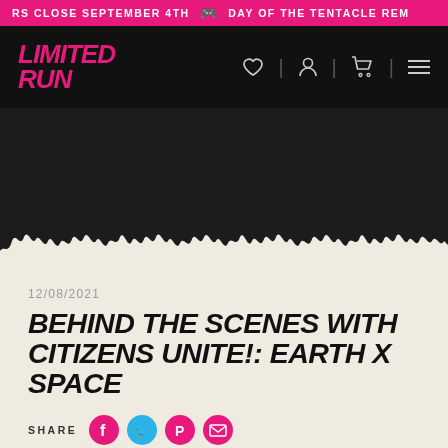RS CLOSE SEPTEMBER 4TH  DAY OF THE TENTACLE REM
[Figure (screenshot): Limited Run Games navigation header with pink logo and icons on dark background]
12/08/2021
BEHIND THE SCENES WITH CITIZENS UNITE!: EARTH X SPACE
SHARE